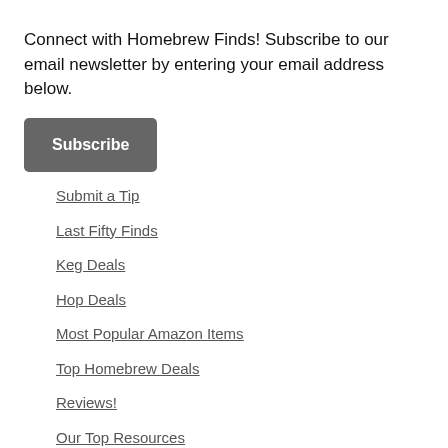Connect with Homebrew Finds! Subscribe to our email newsletter by entering your email address below.
Subscribe
Submit a Tip
Last Fifty Finds
Keg Deals
Hop Deals
Most Popular Amazon Items
Top Homebrew Deals
Reviews!
Our Top Resources
Tips and Tricks
New? Start Here
Amazon Fillers
Subscribe by RSS
Connect with Us